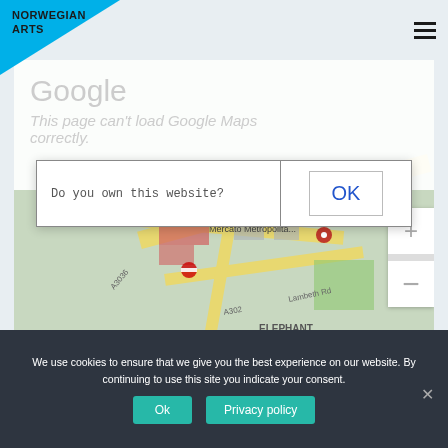[Figure (screenshot): Norwegian Arts website header with blue triangle logo and hamburger menu icon]
[Figure (screenshot): Google Maps error dialog showing 'This page can't load Google Maps correctly' with 'Do you own this website?' prompt and OK button, overlaid on a Google Maps view of Mercato Metropolitano area in London]
Where:
We use cookies to ensure that we give you the best experience on our website. By continuing to use this site you indicate your consent.